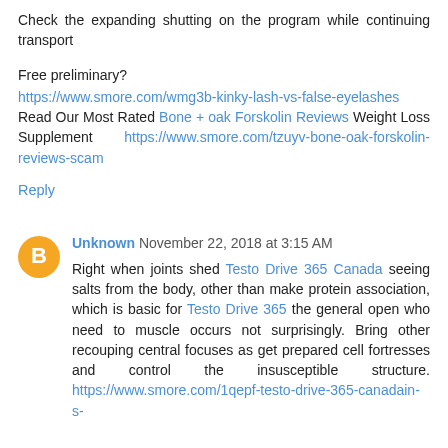Check the expanding shutting on the program while continuing transport
Free preliminary?
https://www.smore.com/wmg3b-kinky-lash-vs-false-eyelashes
Read Our Most Rated Bone + oak Forskolin Reviews Weight Loss Supplement https://www.smore.com/tzuyv-bone-oak-forskolin-reviews-scam
Reply
Unknown November 22, 2018 at 3:15 AM
Right when joints shed Testo Drive 365 Canada seeing salts from the body, other than make protein association, which is basic for Testo Drive 365 the general open who need to muscle occurs not surprisingly. Bring other recouping central focuses as get prepared cell fortresses and control the insusceptible structure. https://www.smore.com/1qepf-testo-drive-365-canadain-s-